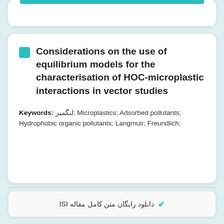Considerations on the use of equilibrium models for the characterisation of HOC-microplastic interactions in vector studies
Keywords: لنگمیر; Microplastics; Adsorbed pollutants; Hydrophobic organic pollutants; Langmuir; Freundlich;
✔ دانلود رایگان متن کامل مقاله ISI